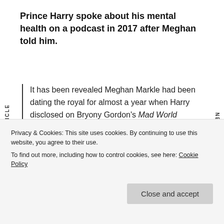Prince Harry spoke about his mental health on a podcast in 2017 after Meghan told him.
It has been revealed Meghan Markle had been dating the royal for almost a year when Harry disclosed on Bryony Gordon's Mad World podcast that he had sought counselling while struggling with his grief in his late twenties over his mother Princess Diana's death.
Privacy & Cookies: This site uses cookies. By continuing to use this website, you agree to their use.
To find out more, including how to control cookies, see here: Cookie Policy
encouraged her then-boyfriend to do the podcast about his